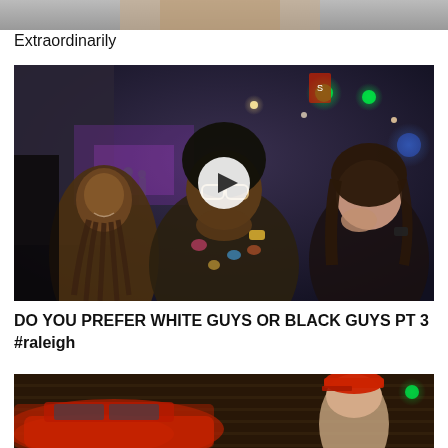[Figure (photo): Top partial image, cropped person]
Extraordinarily
[Figure (photo): Night street scene with three people, video thumbnail with play button]
DO YOU PREFER WHITE GUYS OR BLACK GUYS PT 3 #raleigh
[Figure (photo): Bottom partial image showing red car and person in red hat at night]